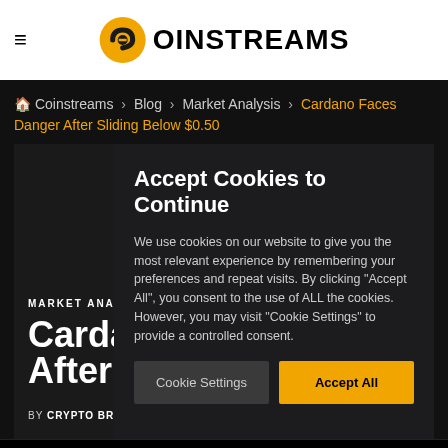Coinstreams
Coinstreams > Blog > Market Analysis > Cardano Faces Danger After Sliding Below $0.50
MARKET ANALYSIS
Cardano Faces After Sli
BY CRYPTO BRIEFIN
Accept Cookies to Continue
We use cookies on our website to give you the most relevant experience by remembering your preferences and repeat visits. By clicking "Accept All", you consent to the use of ALL the cookies. However, you may visit "Cookie Settings" to provide a controlled consent.
Cookie Settings   Accept All
$23,490.42  ↓ -0.59%   Ethereum (ETH)  $1,859.77  ↓ -0.63